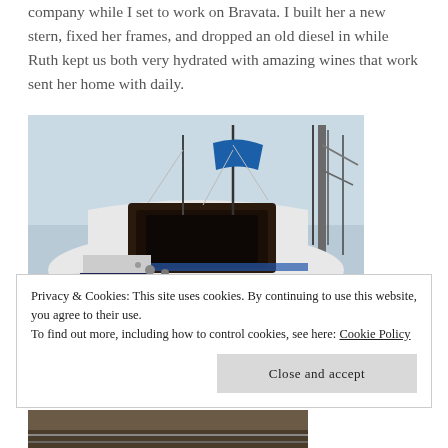company while I set to work on Bravata. I built her a new stern, fixed her frames, and dropped an old diesel in while Ruth kept us both very hydrated with amazing wines that work sent her home with daily.
[Figure (photo): A white sailboat hull out of the water, propped up in a boatyard with masts visible in the background against a pale blue sky. The stern area shows dark wood work (newly built stern). Other boats visible in the background.]
Privacy & Cookies: This site uses cookies. By continuing to use this website, you agree to their use.
To find out more, including how to control cookies, see here: Cookie Policy
Close and accept
[Figure (photo): Partial view of another photo at the bottom of the page, showing what appears to be a boat or dock scene.]